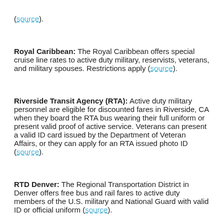(source).
Royal Caribbean: The Royal Caribbean offers special cruise line rates to active duty military, reservists, veterans, and military spouses. Restrictions apply (source).
Riverside Transit Agency (RTA): Active duty military personnel are eligible for discounted fares in Riverside, CA when they board the RTA bus wearing their full uniform or present valid proof of active service. Veterans can present a valid ID card issued by the Department of Veteran Affairs, or they can apply for an RTA issued photo ID (source).
RTD Denver: The Regional Transportation District in Denver offers free bus and rail fares to active duty members of the U.S. military and National Guard with valid ID or official uniform (source).